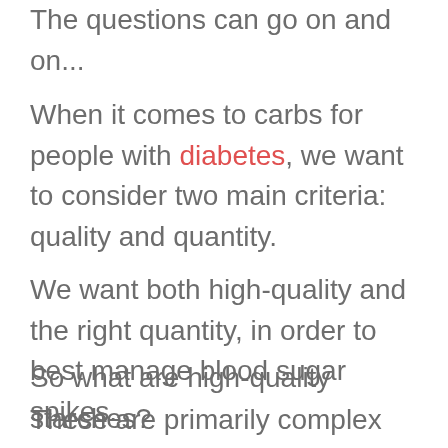The questions can go on and on...
When it comes to carbs for people with diabetes, we want to consider two main criteria: quality and quantity.
We want both high-quality and the right quantity, in order to best manage blood sugar spikes.
So what are high-quality starches?
These are primarily complex carbs and high fiber, lower sugar sources.